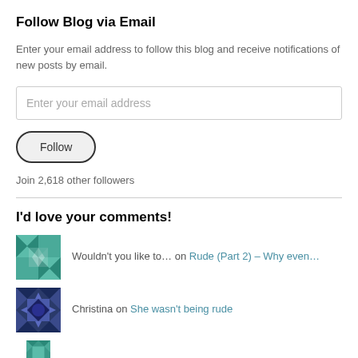Follow Blog via Email
Enter your email address to follow this blog and receive notifications of new posts by email.
[Figure (other): Email input field with placeholder text 'Enter your email address']
[Figure (other): Follow button with rounded border]
Join 2,618 other followers
I'd love your comments!
Wouldn't you like to… on Rude (Part 2) – Why even…
Christina on She wasn't being rude